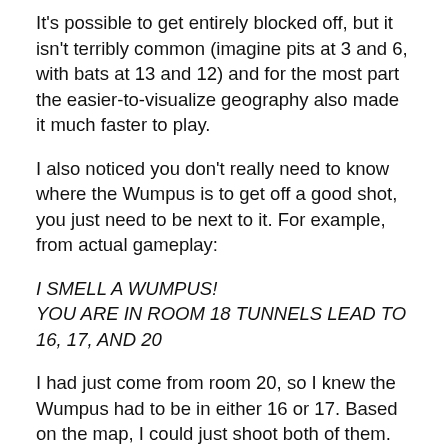It's possible to get entirely blocked off, but it isn't terribly common (imagine pits at 3 and 6, with bats at 13 and 12) and for the most part the easier-to-visualize geography also made it much faster to play.
I also noticed you don't really need to know where the Wumpus is to get off a good shot, you just need to be next to it. For example, from actual gameplay:
I SMELL A WUMPUS!
YOU ARE IN ROOM 18 TUNNELS LEAD TO 16, 17, AND 20
I had just come from room 20, so I knew the Wumpus had to be in either 16 or 17. Based on the map, I could just shoot both of them.
SHOOT OR MOVE? S